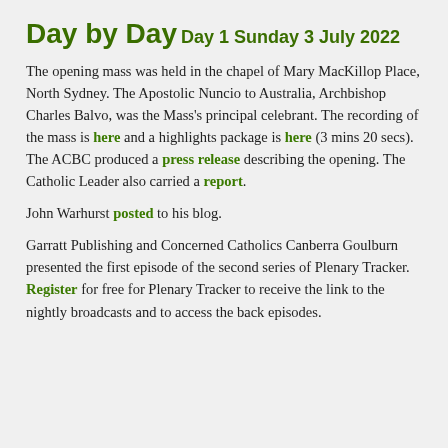Day by Day
Day 1 Sunday 3 July 2022
The opening mass was held in the chapel of Mary MacKillop Place, North Sydney. The Apostolic Nuncio to Australia, Archbishop Charles Balvo, was the Mass's principal celebrant. The recording of the mass is here and a highlights package is here (3 mins 20 secs). The ACBC produced a press release describing the opening. The Catholic Leader also carried a report.
John Warhurst posted to his blog.
Garratt Publishing and Concerned Catholics Canberra Goulburn presented the first episode of the second series of Plenary Tracker. Register for free for Plenary Tracker to receive the link to the nightly broadcasts and to access the back episodes.